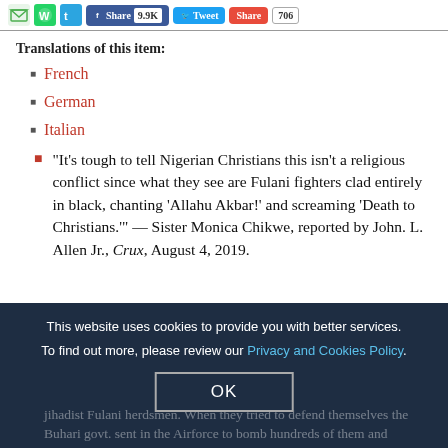[Figure (screenshot): Social sharing bar with icons for email, WhatsApp, Telegram, Facebook Share (9.9K), Tweet, Share, and count bubble showing 706]
Translations of this item:
French
German
Italian
"It's tough to tell Nigerian Christians this isn't a religious conflict since what they see are Fulani fighters clad entirely in black, chanting 'Allahu Akbar!' and screaming 'Death to Christians.'" — Sister Monica Chikwe, reported by John. L. Allen Jr., Crux, August 4, 2019.
This website uses cookies to provide you with better services. To find out more, please review our Privacy and Cookies Policy.
jihadist Fulani herdsmen. When they tried to defend themselves the Buhari govt. sent in the Airforce to bomb hundreds of them and